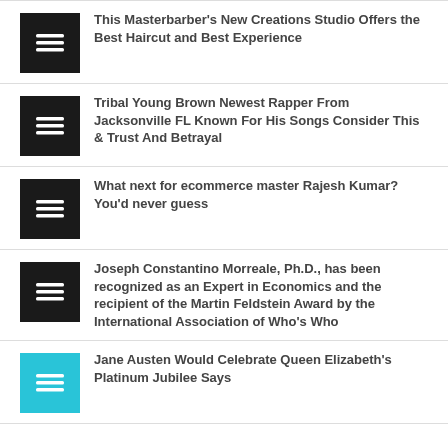This Masterbarber's New Creations Studio Offers the Best Haircut and Best Experience
Tribal Young Brown Newest Rapper From Jacksonville FL Known For His Songs Consider This & Trust And Betrayal
What next for ecommerce master Rajesh Kumar? You'd never guess
Joseph Constantino Morreale, Ph.D., has been recognized as an Expert in Economics and the recipient of the Martin Feldstein Award by the International Association of Who's Who
Jane Austen Would Celebrate Queen Elizabeth's Platinum Jubilee Says